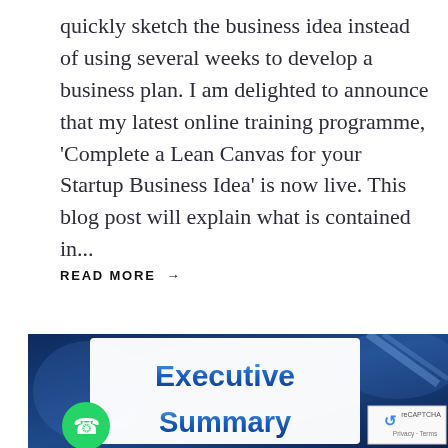quickly sketch the business idea instead of using several weeks to develop a business plan. I am delighted to announce that my latest online training programme, ‘Complete a Lean Canvas for your Startup Business Idea’ is now live. This blog post will explain what is contained in...
READ MORE →
[Figure (photo): Image showing a sign or banner with the text 'Executive Summary' in bold blue letters on a white background, with a dark blue textured background behind it. A green WhatsApp icon is visible at the bottom left, and a reCAPTCHA badge is at the bottom right.]